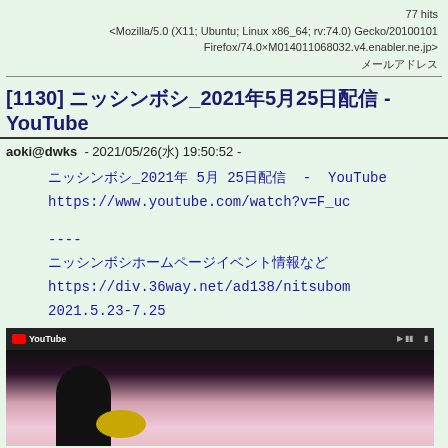77 hits
<Mozilla/5.0 (X11; Ubuntu; Linux x86_64; rv:74.0) Gecko/20100101 Firefox/74.0×M014011068032.v4.enabler.ne.jp>
メールアドレス
[1130] ニッシンボシ_2021年5月25日配信 - YouTube
aoki@dwks - 2021/05/26(水) 19:50:52 -
ニッシンボシ_2021年 5月 25日配信  - YouTube
https://www.youtube.com/watch?v=F_uc
----
ニッシンボシホームページイベント情報など
https://div.36way.net/ad138/nitsubom
2021.5.23-7.25
[Figure (screenshot): YouTube video screenshot showing a person and a yellow bowl on a pink/purple background with YouTube player bar at top]